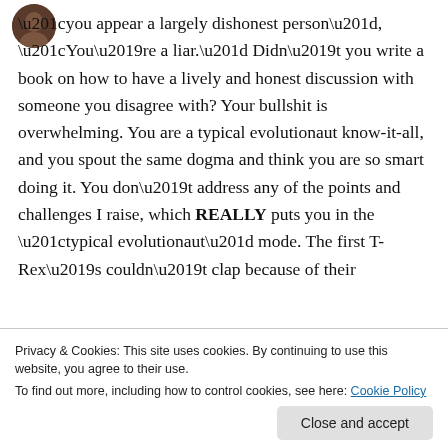[Figure (photo): Small circular avatar photo of a person, positioned top-left]
“you appear a largely dishonest person”, “You’re a liar.” Didn’t you write a book on how to have a lively and honest discussion with someone you disagree with? Your bullshit is overwhelming. You are a typical evolutionaut know-it-all, and you spout the same dogma and think you are so smart doing it. You don’t address any of the points and challenges I raise, which REALLY puts you in the “typical evolutionaut” mode. The first T-Rex’s couldn’t clap because of their
Privacy & Cookies: This site uses cookies. By continuing to use this website, you agree to their use.
To find out more, including how to control cookies, see here: Cookie Policy
went through much change over long periods of